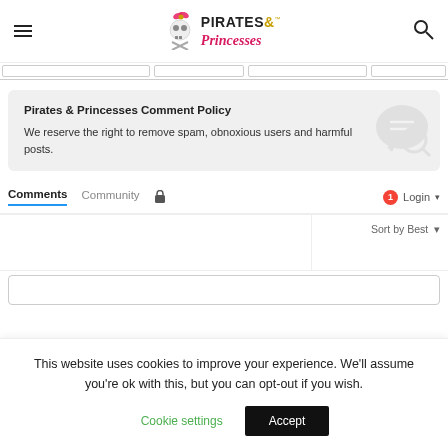Pirates & Princesses
Pirates & Princesses Comment Policy
We reserve the right to remove spam, obnoxious users and harmful posts.
Comments   Community   🔒   1   Login ▾   Sort by Best ▾
This website uses cookies to improve your experience. We'll assume you're ok with this, but you can opt-out if you wish.
Cookie settings   Accept